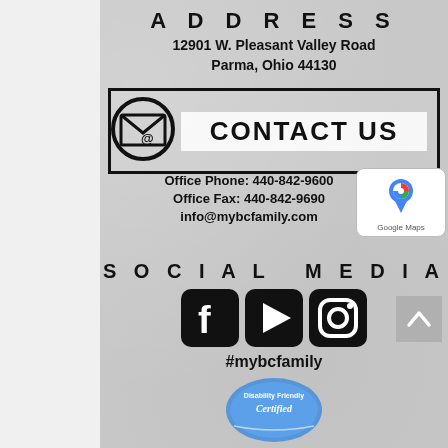ADDRESS
12901 W. Pleasant Valley Road
Parma, Ohio 44130
[Figure (infographic): CONTACT US banner with envelope/mail icon on left and bold text CONTACT US in white box with black border]
Office Phone: 440-842-9600
Office Fax: 440-842-9690
info@mybcfamily.com
[Figure (logo): Google Maps badge/icon with Google Maps text]
SOCIAL MEDIA
[Figure (infographic): Social media icons: Facebook, YouTube play button, Instagram]
#mybcfamily
[Figure (logo): Disability Friendly Certified badge/seal]